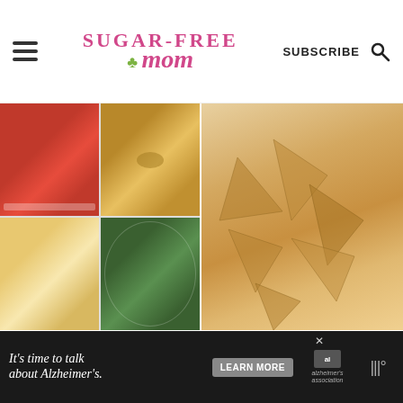Sugar-Free Mom | SUBSCRIBE
[Figure (photo): Grid of four food photos: stuffed red peppers, golden croquettes, scrambled eggs pasta, kale salad]
[Figure (photo): Close-up of crispy keto tortilla chips stacked on a white plate]
Low-Carb Keto Fasting Meal Plan Menu Week 34
Crispy Low Carb Keto Tortilla Chips (Air Fryer or Oven, Dairy Free)
[Figure (other): Ad banner: It's time to talk about Alzheimer's. Learn More button, Alzheimer's Association logo]